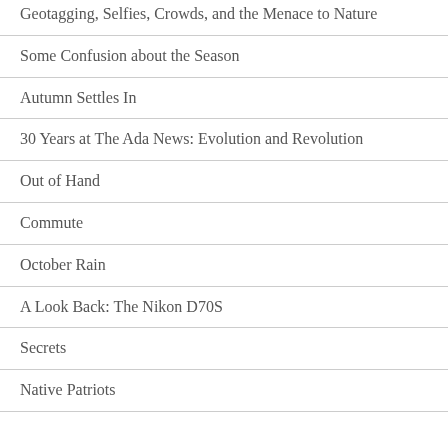Geotagging, Selfies, Crowds, and the Menace to Nature
Some Confusion about the Season
Autumn Settles In
30 Years at The Ada News: Evolution and Revolution
Out of Hand
Commute
October Rain
A Look Back: The Nikon D70S
Secrets
Native Patriots